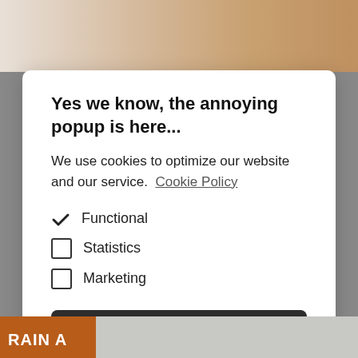[Figure (screenshot): Top partial image strip showing a webpage background with light and warm tones]
Yes we know, the annoying popup is here...
We use cookies to optimize our website and our service.  Cookie Policy
✓  Functional
☐  Statistics
☐  Marketing
Accept all
Save preferences
[Figure (screenshot): Bottom partial image strip showing 'RAIN A' text in white on orange/brown background with a person's image]